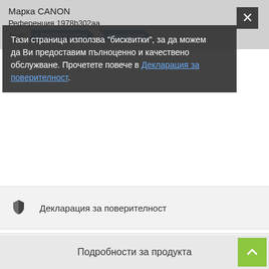Марка CANON
Референция 1978b302aa
Tags: 4960999610894 • Консуматив
Тази страница използва "бисквитки", за да можем да Ви предоставим пълноценно и качествено обслужване. Прочетете повече в Декларация за поверителност.
Декларация за поверителност
Условия за доставка
Общи условия
Подробности за продукта